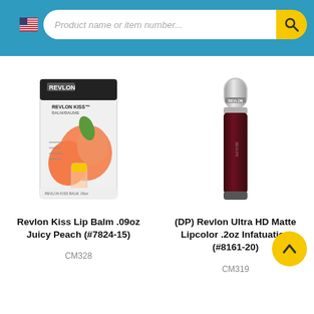Product name or item number...
[Figure (photo): Revlon Kiss Lip Balm .09oz Juicy Peach product packaging with peach imagery]
Revlon Kiss Lip Balm .09oz Juicy Peach (#7824-15)
CM328
[Figure (photo): Revlon Ultra HD Matte Lipcolor .2oz Infatuation dark burgundy lipstick tube with silver cap]
(DP) Revlon Ultra HD Matte Lipcolor .2oz Infatuation (#8161-20)
CM319